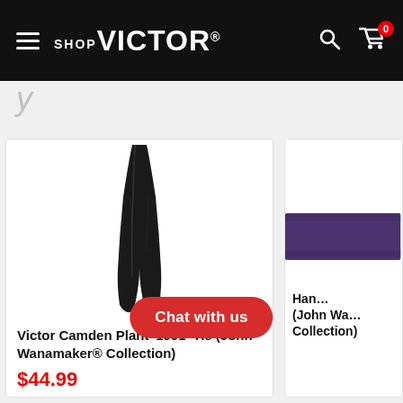SHOPVICTOR
[Figure (photo): Black necktie product photo on white background — Victor Camden Plant '1901' Tie]
Victor Camden Plant '1901' Tie (John Wanamaker® Collection)
$44.99
[Figure (photo): Purple/dark blue handkerchief or fabric item, partially visible on right side]
Han... (John Wanamaker® Collection)
Chat with us